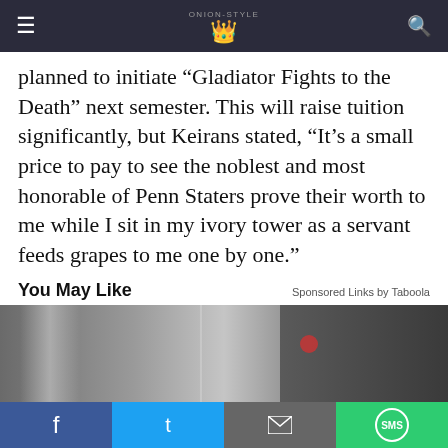Onion-style news site navigation bar
planned to initiate “Gladiator Fights to the Death” next semester. This will raise tuition significantly, but Keirans stated, “It’s a small price to pay to see the noblest and most honorable of Penn Staters prove their worth to me while I sit in my ivory tower as a servant feeds grapes to me one by one.”
You May Like
Sponsored Links by Taboola
[Figure (photo): Photo of modern elevator doors / stair lift advertisement image]
New Shaftless Stair Lifts takes Only Hours to Install - See How Much The...
Stair Lifts | Sponsored
Share bar: Facebook, Twitter, Email, SMS